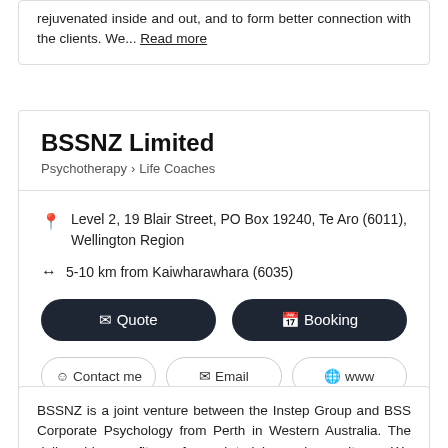rejuvenated inside and out, and to form better connection with the clients. We... Read more
BSSNZ Limited
Psychotherapy > Life Coaches
Level 2, 19 Blair Street, PO Box 19240, Te Aro (6011), Wellington Region
5-10 km from Kaiwharawhara (6035)
Quote   Booking
Contact me   Email   www
BSSNZ is a joint venture between the Instep Group and BSS Corporate Psychology from Perth in Western Australia. The deliverables are fitness for work training and consultancy. We work in the corporate psychology space and specialise in fatigue and better sleep management, roster